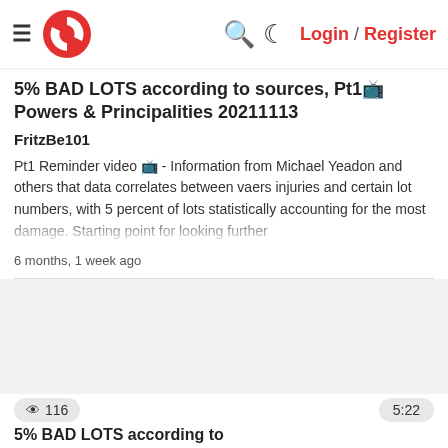≡ [Logo] 🔍 ☾ Login / Register
5% BAD LOTS according to sources, Pt1 Powers & Principalities 20211113
FritzBe101
Pt1 Reminder video 📺 - Information from Michael Yeadon and others that data correlates between vaers injuries and certain lot numbers, with 5 percent of lots statistically accounting for the most damage. Starting point for looking further
6 months, 1 week ago
[Figure (screenshot): Video thumbnail area (blank/loading)]
👁 116   5:22
5% BAD LOTS according to